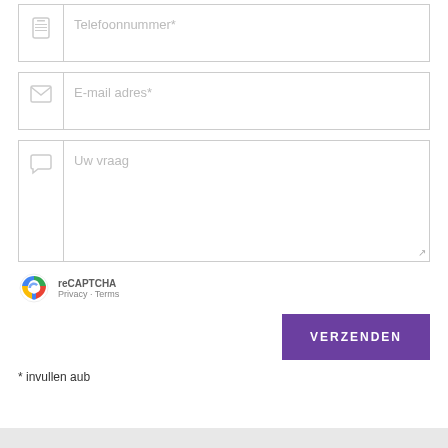[Figure (screenshot): Form field with phone icon and placeholder text 'Telefoonnummer*']
[Figure (screenshot): Form field with email/envelope icon and placeholder text 'E-mail adres*']
[Figure (screenshot): Textarea field with speech bubble icon and placeholder text 'Uw vraag']
[Figure (screenshot): reCAPTCHA widget with Google logo, 'reCAPTCHA' label, Privacy and Terms links]
[Figure (screenshot): Purple 'VERZENDEN' submit button]
* invullen aub